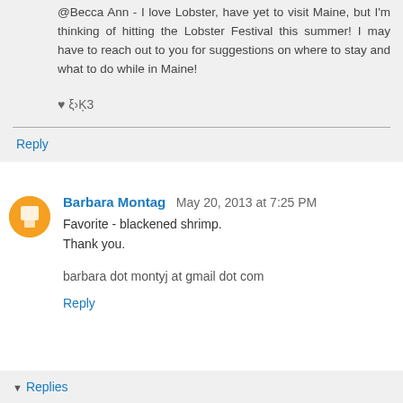@Becca Ann - I love Lobster, have yet to visit Maine, but I'm thinking of hitting the Lobster Festival this summer! I may have to reach out to you for suggestions on where to stay and what to do while in Maine!

♥ ξ›Ķ3
Reply
Barbara Montag  May 20, 2013 at 7:25 PM
Favorite - blackened shrimp.
Thank you.

barbara dot montyj at gmail dot com
Reply
Replies